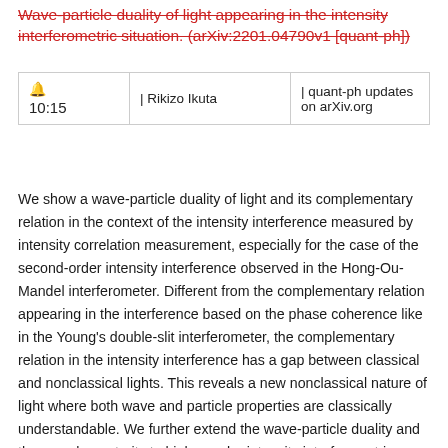Wave-particle duality of light appearing in the intensity interferometric situation. (arXiv:2201.04790v1 [quant-ph])
|  | Author | Source |
| --- | --- | --- |
| 🔔
10:15 | | Rikizo Ikuta | | quant-ph updates on arXiv.org |
We show a wave-particle duality of light and its complementary relation in the context of the intensity interference measured by intensity correlation measurement, especially for the case of the second-order intensity interference observed in the Hong-Ou-Mandel interferometer. Different from the complementary relation appearing in the interference based on the phase coherence like in the Young's double-slit interferometer, the complementary relation in the intensity interference has a gap between classical and nonclassical lights. This reveals a new nonclassical nature of light where both wave and particle properties are classically understandable. We further extend the wave-particle duality and the complementarity to higher-order intensity interferometric situations.